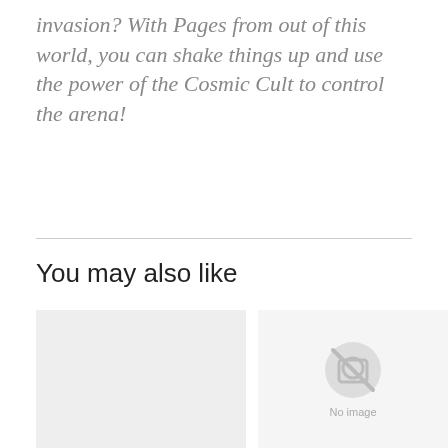invasion? With Pages from out of this world, you can shake things up and use the power of the Cosmic Cult to control the arena!
You may also like
[Figure (photo): Left product card with light gray background placeholder image]
[Figure (photo): Right product card showing 'No image' placeholder with camera-slash icon and label 'PSA 10 Shadowless']
PSA 10 Shadowless